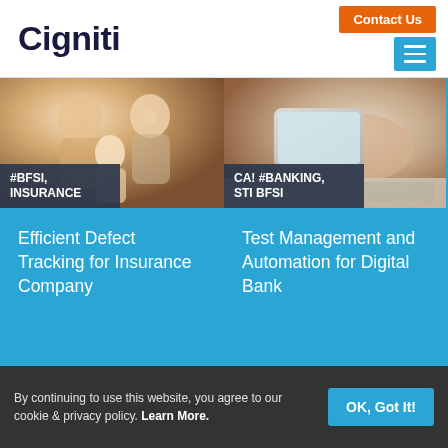Cigniti
Contact Us
[Figure (photo): Family photo - man, woman, and young child smiling]
#BFSI, INSURANCE
Efficient Defect Tracking for Insurance Company
[Figure (photo): Hand holding a smartphone over a laptop keyboard]
CA! #BANKING, STI BFSI
Test Management and Automation for Digital Bank
[Figure (photo): Documents with charts and graphs]
[Figure (photo): Stock market trading screen with green data]
By continuing to use this website, you agree to our cookie & privacy policy. Learn More.
OK, Got It!